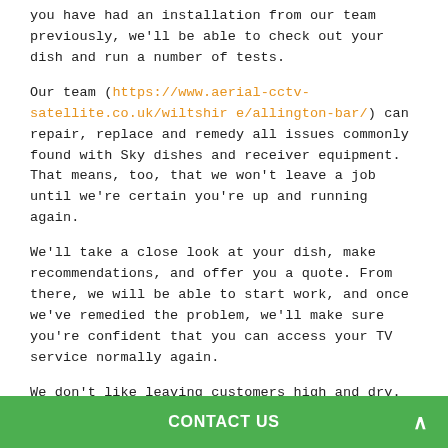you have had an installation from our team previously, we'll be able to check out your dish and run a number of tests.
Our team (https://www.aerial-cctv-satellite.co.uk/wiltshire/allington-bar/) can repair, replace and remedy all issues commonly found with Sky dishes and receiver equipment. That means, too, that we won't leave a job until we're certain you're up and running again.
We'll take a close look at your dish, make recommendations, and offer you a quote. From there, we will be able to start work, and once we've remedied the problem, we'll make sure you're confident that you can access your TV service normally again.
We don't like leaving customers high and dry. It's simply not our style! Having supported so many customers with aerial services and Sky installation over the years, we
CONTACT US